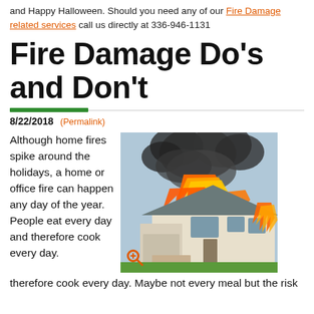and Happy Halloween. Should you need any of our Fire Damage related services call us directly at 336-946-1131
Fire Damage Do's and Don't
8/22/2018 (Permalink)
Although home fires spike around the holidays, a home or office fire can happen any day of the year. People eat every day and therefore cook every day. Maybe not every meal but the risk
[Figure (photo): A large two-story house engulfed in flames with heavy black smoke rising against a light sky, taken on a green lawn.]
therefore cook every day. Maybe not every meal but the risk